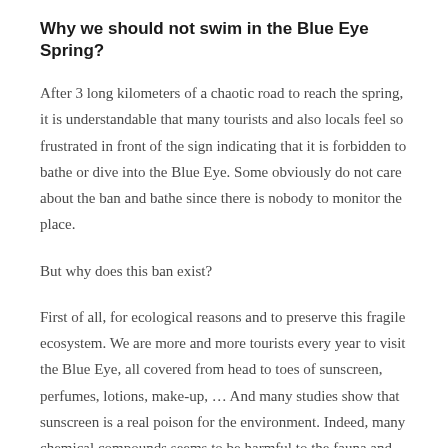Why we should not swim in the Blue Eye Spring?
After 3 long kilometers of a chaotic road to reach the spring, it is understandable that many tourists and also locals feel so frustrated in front of the sign indicating that it is forbidden to bathe or dive into the Blue Eye. Some obviously do not care about the ban and bathe since there is nobody to monitor the place.
But why does this ban exist?
First of all, for ecological reasons and to preserve this fragile ecosystem. We are more and more tourists every year to visit the Blue Eye, all covered from head to toes of sunscreen, perfumes, lotions, make-up, … And many studies show that sunscreen is a real poison for the environment. Indeed, many chemical compounds seems to be harmful to the fauna and